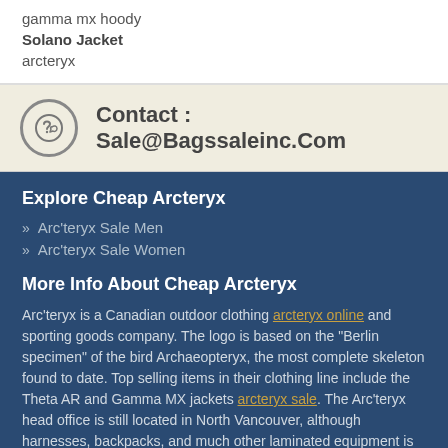gamma mx hoody
Solano Jacket
arcteryx
Contact : Sale@Bagssaleinc.Com
Explore Cheap Arcteryx
Arc'teryx Sale Men
Arc'teryx Sale Women
More Info About Cheap Arcteryx
Arc'teryx is a Canadian outdoor clothing arcteryx online and sporting goods company. The logo is based on the "Berlin specimen" of the bird Archaeopteryx, the most complete skeleton found to date. Top selling items in their clothing line include the Theta AR and Gamma MX jackets arcteryx sale. The Arc'teryx head office is still located in North Vancouver, although harnesses, backpacks, and much other laminated equipment is made in its own factory in New Westminster, BC. Their apparel line has expanded, thus Arc'teryx has consequently outsourced to plants in China cheap arcteryx, the Philippines, Vietnam, Bangladesh, El Salvador, and Laos.